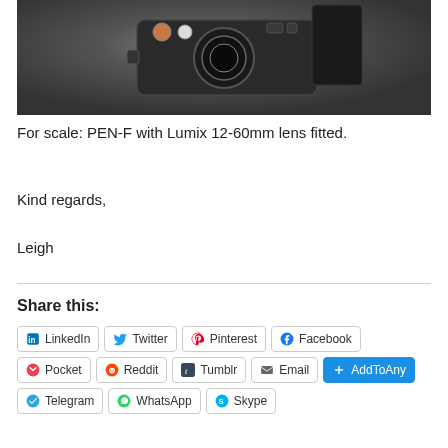[Figure (photo): Top-down view of a camera (PEN-F) with Lumix 12-60mm lens fitted, on a dark gray surface]
For scale: PEN-F with Lumix 12-60mm lens fitted.
Kind regards,

Leigh
Share this:
LinkedIn
Twitter
Pinterest
Facebook
Pocket
Reddit
Tumblr
Email
AddToAny
Telegram
WhatsApp
Skype